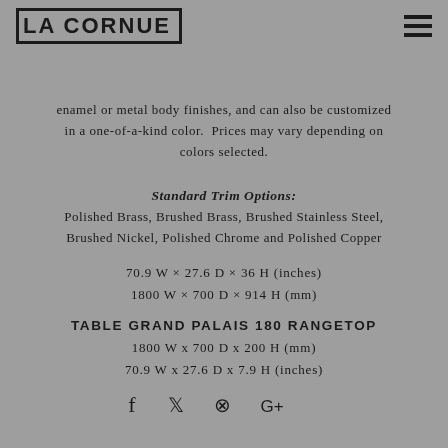LA CORNUE
enamel or metal body finishes, and can also be customized in a one-of-a-kind color. Prices may vary depending on colors selected.
Standard Trim Options:
Polished Brass, Brushed Brass, Brushed Stainless Steel, Brushed Nickel, Polished Chrome and Polished Copper
70.9 W × 27.6 D × 36 H (inches)
1800 W × 700 D × 914 H (mm)
TABLE GRAND PALAIS 180 RANGETOP
1800 W x 700 D x 200 H (mm)
70.9 W x 27.6 D x 7.9 H (inches)
[Figure (other): Social media icons: Facebook, Twitter, Pinterest, Google+]